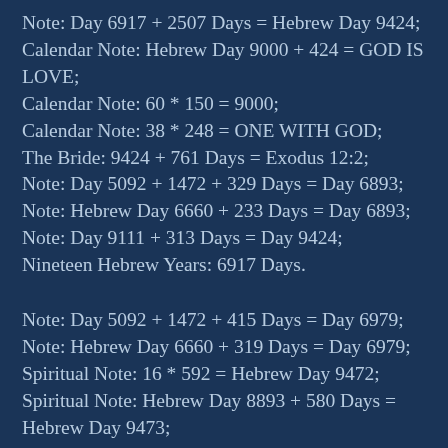Note: Day 6917 + 2507 Days = Hebrew Day 9424; Calendar Note: Hebrew Day 9000 + 424 = GOD IS LOVE; Calendar Note: 60 * 150 = 9000; Calendar Note: 38 * 248 = ONE WITH GOD; The Bride: 9424 + 761 Days = Exodus 12:2; Note: Day 5092 + 1472 + 329 Days = Day 6893; Note: Hebrew Day 6660 + 233 Days = Day 6893; Note: Day 9111 + 313 Days = Day 9424; Nineteen Hebrew Years: 6917 Days.
Note: Day 5092 + 1472 + 415 Days = Day 6979; Note: Hebrew Day 6660 + 319 Days = Day 6979; Spiritual Note: 16 * 592 = Hebrew Day 9472; Spiritual Note: Hebrew Day 8893 + 580 Days = Hebrew Day 9473; We Know Who You Are: 6917 + 1989 +555 = Taylor Swift